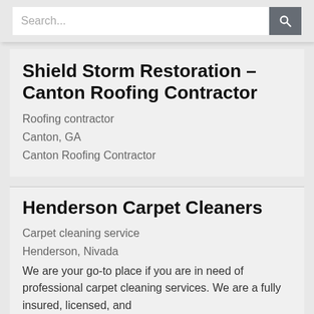[Figure (screenshot): Search bar with text input field showing placeholder 'Search...' and a dark grey search button with magnifying glass icon]
Shield Storm Restoration – Canton Roofing Contractor
Roofing contractor
Canton, GA
Canton Roofing Contractor
Henderson Carpet Cleaners
Carpet cleaning service
Henderson, Nivada
We are your go-to place if you are in need of professional carpet cleaning services. We are a fully insured, licensed, and